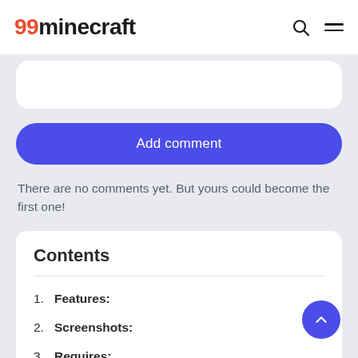99minecraft
Add comment
There are no comments yet. But yours could become the first one!
Contents
1. Features:
2. Screenshots:
3. Requires: